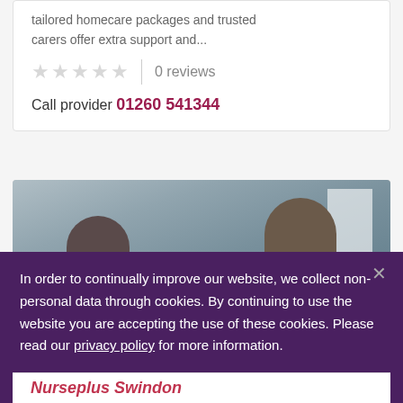tailored homecare packages and trusted carers offer extra support and...
★★★★★  |  0 reviews
Call provider 01260 541344
[Figure (photo): Two people photographed from behind, appearing to look at a board or wall]
In order to continually improve our website, we collect non-personal data through cookies. By continuing to use the website you are accepting the use of these cookies. Please read our privacy policy for more information.
Nurseplus Swindon